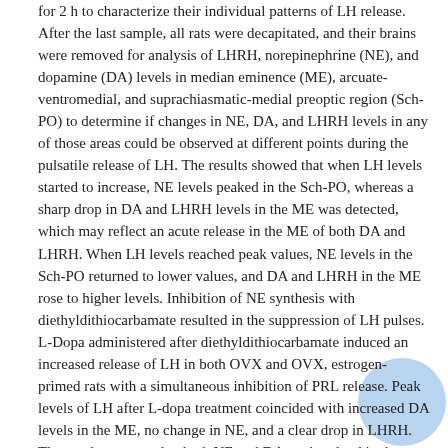for 2 h to characterize their individual patterns of LH release. After the last sample, all rats were decapitated, and their brains were removed for analysis of LHRH, norepinephrine (NE), and dopamine (DA) levels in median eminence (ME), arcuate-ventromedial, and suprachiasmatic-medial preoptic region (Sch-PO) to determine if changes in NE, DA, and LHRH levels in any of those areas could be observed at different points during the pulsatile release of LH. The results showed that when LH levels started to increase, NE levels peaked in the Sch-PO, whereas a sharp drop in DA and LHRH levels in the ME was detected, which may reflect an acute release in the ME of both DA and LHRH. When LH levels reached peak values, NE levels in the Sch-PO returned to lower values, and DA and LHRH in the ME rose to higher levels. Inhibition of NE synthesis with diethyldithiocarbamate resulted in the suppression of LH pulses. L-Dopa administered after diethyldithiocarbamate induced an increased release of LH in both OVX and OVX, estrogen-primed rats with a simultaneous inhibition of PRL release. Peak levels of LH after L-dopa treatment coincided with increased DA levels in the ME, no change in NE, and a clear drop in LHRH. The results suggest that both NE and DA are involved in the pulsatile release of LH in OVX rats.